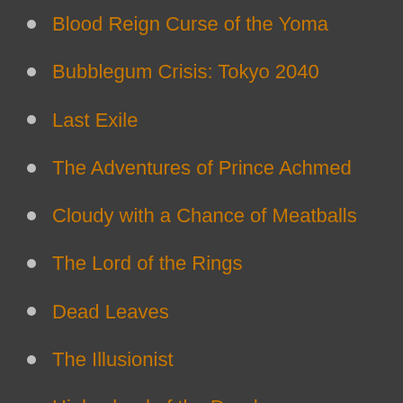Blood Reign Curse of the Yoma
Bubblegum Crisis: Tokyo 2040
Last Exile
The Adventures of Prince Achmed
Cloudy with a Chance of Meatballs
The Lord of the Rings
Dead Leaves
The Illusionist
Highschool of the Dead
Watership Down